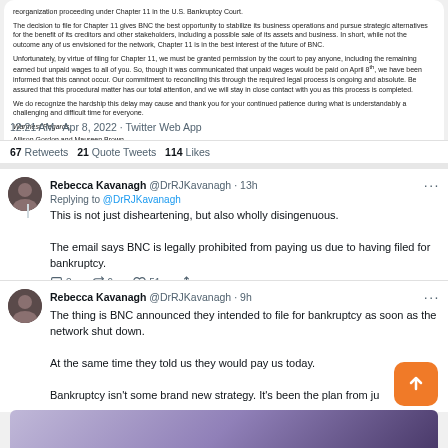[Figure (screenshot): Email card from BNC Corporate Officers (Allison Gordon and Maureen Brown) discussing Chapter 11 bankruptcy filing and inability to pay unpaid wages.]
12:21 AM · Apr 8, 2022 · Twitter Web App
67 Retweets  21 Quote Tweets  114 Likes
[Figure (screenshot): Twitter reply from Rebecca Kavanagh (@DrRJKavanagh · 13h) replying to @DrRJKavanagh: 'This is not just disheartening, but also wholly disingenuous. The email says BNC is legally prohibited from paying us due to having filed for bankruptcy.' with 3 comments, 9 retweets, 51 likes.]
[Figure (screenshot): Twitter reply from Rebecca Kavanagh (@DrRJKavanagh · 9h): 'The thing is BNC announced they intended to file for bankruptcy as soon as the network shut down. At the same time they told us they would pay us today. Bankruptcy isn't some brand new strategy. It's been the plan from ju...' with an image preview at the bottom.]